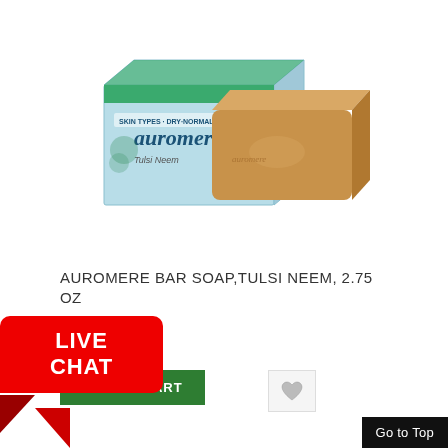[Figure (photo): Auromere Tulsi Neem Ayurvedic bar soap product showing light blue packaging box with green floral design and 'auromer' branding, alongside a tan/brown rectangular bar of soap]
AUROMERE BAR SOAP,TULSI NEEM, 2.75 OZ
28.41
ADD TO CART
[Figure (infographic): Red rounded rectangle badge with white bold text reading LIVE CHAT with speech bubble tail pointing bottom-left, with red arrow shapes below]